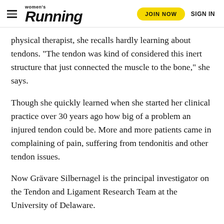women's Running | JOIN NOW | SIGN IN
physical therapist, she recalls hardly learning about tendons. “The tendon was kind of considered this inert structure that just connected the muscle to the bone,” she says.
Though she quickly learned when she started her clinical practice over 30 years ago how big of a problem an injured tendon could be. More and more patients came in complaining of pain, suffering from tendonitis and other tendon issues.
Now Grävare Silbernagel is the principal investigator on the Tendon and Ligament Research Team at the University of Delaware.
And any runner who has ever dealt with tendon issues knows, too, the time and energy it takes to come back. Lucky for us, tendons and how they can be optimized for athletic